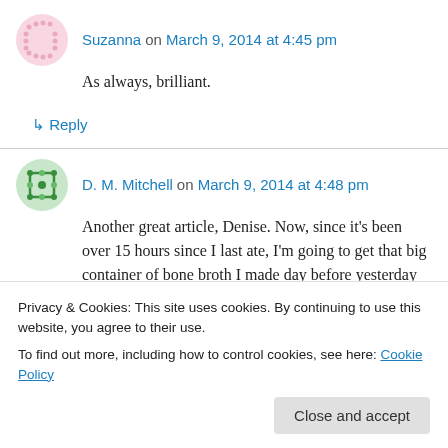Suzanna on March 9, 2014 at 4:45 pm
As always, brilliant.
↳ Reply
D. M. Mitchell on March 9, 2014 at 4:48 pm
Another great article, Denise. Now, since it's been over 15 hours since I last ate, I'm going to get that big container of bone broth I made day before yesterday out of the fridge and make
Privacy & Cookies: This site uses cookies. By continuing to use this website, you agree to their use. To find out more, including how to control cookies, see here: Cookie Policy
Close and accept
...I'll have my daily apple first.